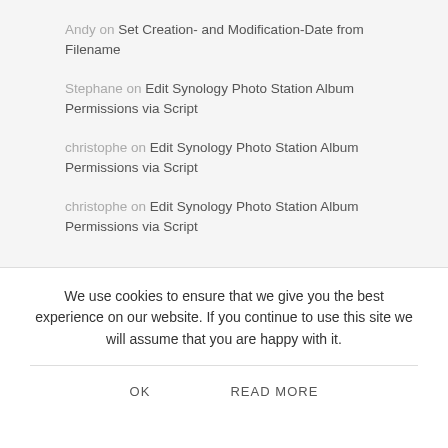Andy on Set Creation- and Modification-Date from Filename
Stephane on Edit Synology Photo Station Album Permissions via Script
christophe on Edit Synology Photo Station Album Permissions via Script
christophe on Edit Synology Photo Station Album Permissions via Script
We use cookies to ensure that we give you the best experience on our website. If you continue to use this site we will assume that you are happy with it.
OK   READ MORE